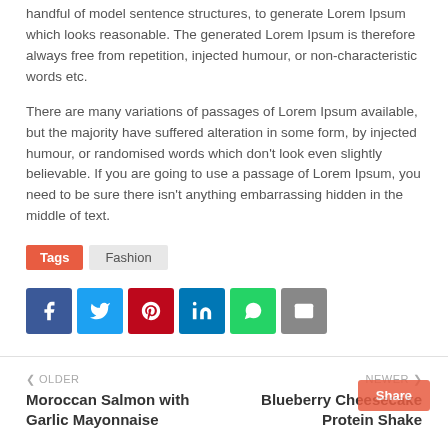handful of model sentence structures, to generate Lorem Ipsum which looks reasonable. The generated Lorem Ipsum is therefore always free from repetition, injected humour, or non-characteristic words etc.
There are many variations of passages of Lorem Ipsum available, but the majority have suffered alteration in some form, by injected humour, or randomised words which don't look even slightly believable. If you are going to use a passage of Lorem Ipsum, you need to be sure there isn't anything embarrassing hidden in the middle of text.
Tags  Fashion
[Figure (infographic): Social share buttons: Facebook, Twitter, Pinterest, LinkedIn, WhatsApp, Email]
< OLDER
Moroccan Salmon with Garlic Mayonnaise
NEWER >
Blueberry Cheesecake Protein Shake